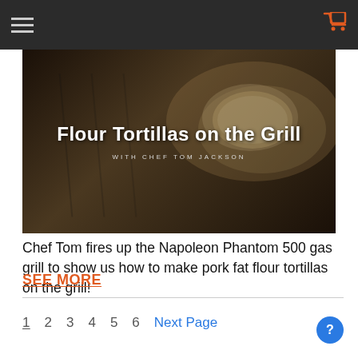Navigation bar with hamburger menu and shopping cart icon
[Figure (photo): Hero image showing flour tortillas on a dark grill surface with text overlay: 'Flour Tortillas on the Grill' and 'WITH CHEF TOM JACKSON']
Chef Tom fires up the Napoleon Phantom 500 gas grill to show us how to make pork fat flour tortillas on the grill!
SEE MORE
1  2  3  4  5  6  Next Page